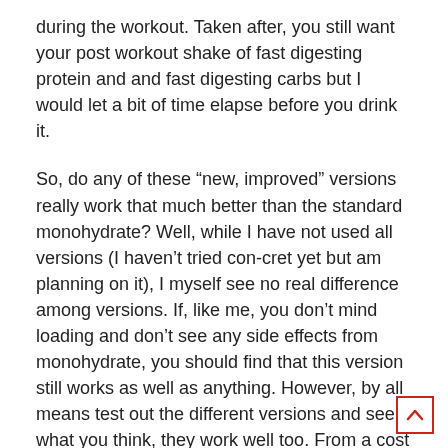during the workout. Taken after, you still want your post workout shake of fast digesting protein and and fast digesting carbs but I would let a bit of time elapse before you drink it.
So, do any of these “new, improved” versions really work that much better than the standard monohydrate? Well, while I have not used all versions (I haven’t tried con-cret yet but am planning on it), I myself see no real difference among versions. If, like me, you don’t mind loading and don’t see any side effects from monohydrate, you should find that this version still works as well as anything. However, by all means test out the different versions and see what you think, they work well too. From a cost effective stand point, however, straight monohydrate powder is extremely economical.